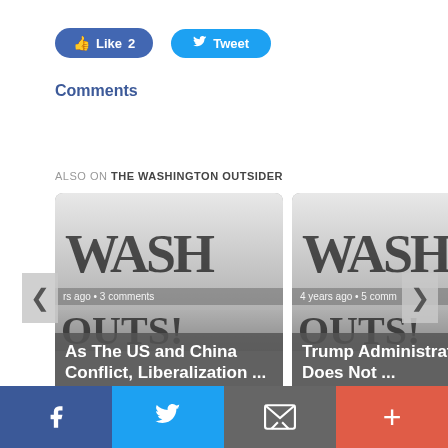[Figure (screenshot): Facebook Like button showing count 2]
[Figure (screenshot): Twitter Tweet button]
Comments
ALSO ON THE WASHINGTON OUTSIDER
[Figure (screenshot): Article card: As The US and China Conflict, Liberalization ... — years ago • 3 comments]
[Figure (screenshot): Article card: Trump Administration Does Not ... — 4 years ago • 5 comm]
[Figure (screenshot): Bottom social sharing bar with Facebook, Twitter, Email, and More buttons]